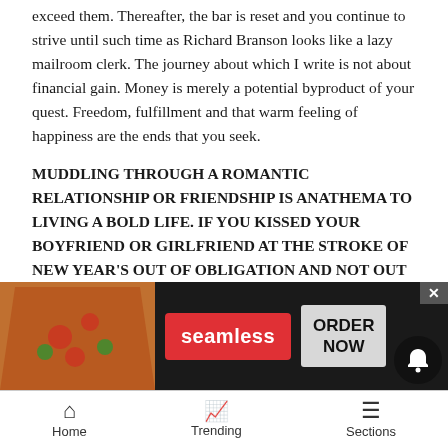exceed them. Thereafter, the bar is reset and you continue to strive until such time as Richard Branson looks like a lazy mailroom clerk. The journey about which I write is not about financial gain. Money is merely a potential byproduct of your quest. Freedom, fulfillment and that warm feeling of happiness are the ends that you seek.
MUDDLING THROUGH A ROMANTIC RELATIONSHIP OR FRIENDSHIP IS ANATHEMA TO LIVING A BOLD LIFE. IF YOU KISSED YOUR BOYFRIEND OR GIRLFRIEND AT THE STROKE OF NEW YEAR'S OUT OF OBLIGATION AND NOT OUT OF GRATITUDE AND DESIRE, THEN TAKE HEED. BREAK THE CYCLE OF AVERAGE AND DEMAND BETTER... TRULY...
[Figure (other): Advertisement banner for Seamless food delivery service showing pizza image, red Seamless logo button, and ORDER NOW button on dark background]
Home   Trending   Sections